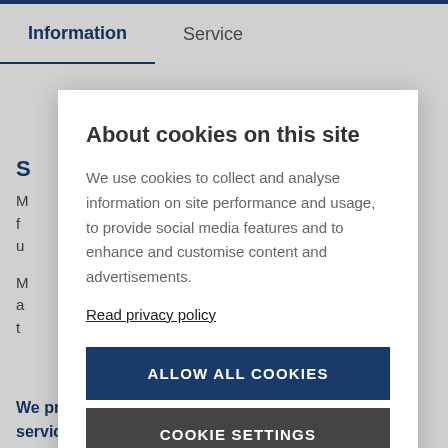Information | Service
S...
M... f... u... M... a... t...
We provide quality spare parts and customized service agreements for our customers to ensure
About cookies on this site
We use cookies to collect and analyse information on site performance and usage, to provide social media features and to enhance and customise content and advertisements.
Read privacy policy
ALLOW ALL COOKIES
COOKIE SETTINGS